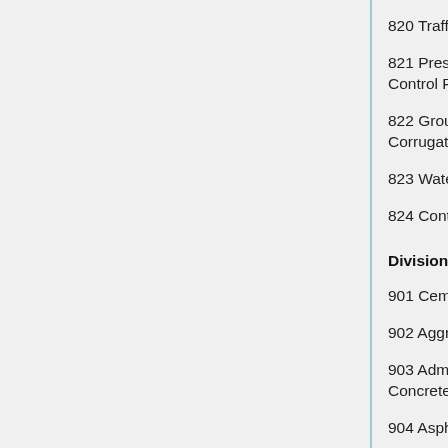820 Traffic Signals
821 Preservation of Land Monuments, Control Points, and Property Corners
822 Ground or Cut Shoulder Corrugations
823 Water Mains
824 Contractor Staking
Division 9 - Materials
901 Cement and Lime
902 Aggregates
903 Admixtures and Curing Materials for Concrete
904 Asphaltic Materials
905 Steel Reinforcement
906 Structural Steel